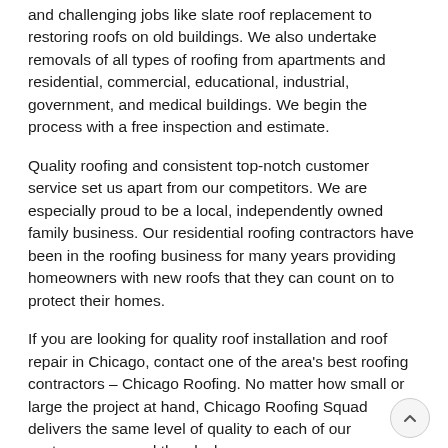and challenging jobs like slate roof replacement to restoring roofs on old buildings. We also undertake removals of all types of roofing from apartments and residential, commercial, educational, industrial, government, and medical buildings. We begin the process with a free inspection and estimate.
Quality roofing and consistent top-notch customer service set us apart from our competitors. We are especially proud to be a local, independently owned family business. Our residential roofing contractors have been in the roofing business for many years providing homeowners with new roofs that they can count on to protect their homes.
If you are looking for quality roof installation and roof repair in Chicago, contact one of the area's best roofing contractors – Chicago Roofing. No matter how small or large the project at hand, Chicago Roofing Squad delivers the same level of quality to each of our customers – round the clock.